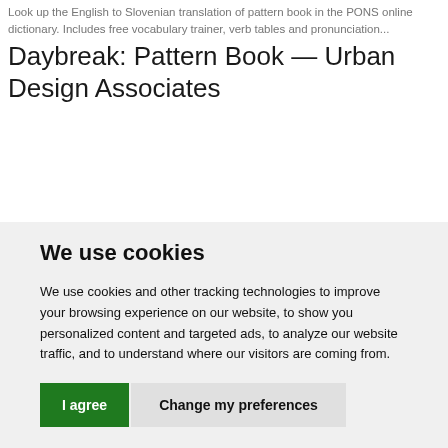Look up the English to Slovenian translation of pattern book in the PONS online dictionary. Includes free vocabulary trainer, verb tables and pronunciation...
Daybreak: Pattern Book — Urban Design Associates
We use cookies
We use cookies and other tracking technologies to improve your browsing experience on our website, to show you personalized content and targeted ads, to analyze our website traffic, and to understand where our visitors are coming from.
I agree   Change my preferences